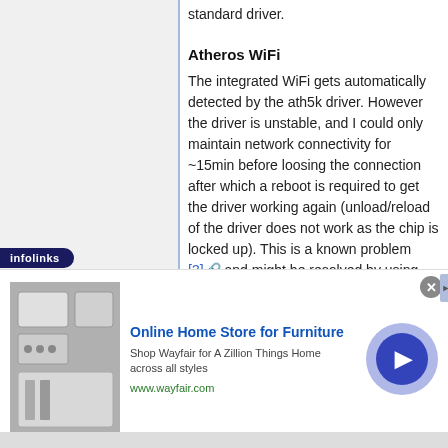standard driver.
Atheros WiFi
The integrated WiFi gets automatically detected by the ath5k driver. However the driver is unstable, and I could only maintain network connectivity for ~15min before loosing the connection after which a reboot is required to get the driver working again (unload/reload of the driver does not work as the chip is locked up). This is a known problem [3] and might be resolved by using the latest compat-wireless package, but I have not tested it yet.
[Figure (infographic): Advertisement banner: Online Home Store for Furniture - Shop Wayfair for A Zillion Things Home across all styles. www.wayfair.com. Infolinks badge in top-left. Close button top-right.]